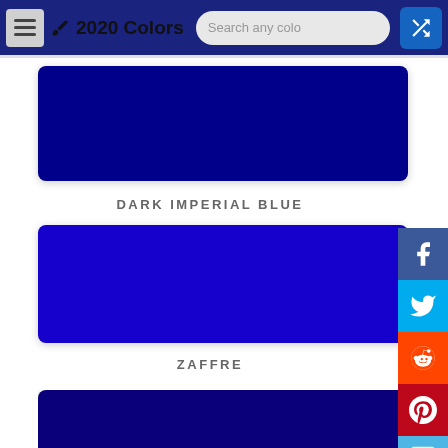2020 Colors
[Figure (illustration): Dark Imperial Blue color swatch - a large dark navy blue rectangle]
DARK IMPERIAL BLUE
[Figure (illustration): Zaffre color swatch - a large vivid cobalt blue rectangle]
ZAFFRE
[Figure (illustration): Third blue color swatch partially visible at bottom]